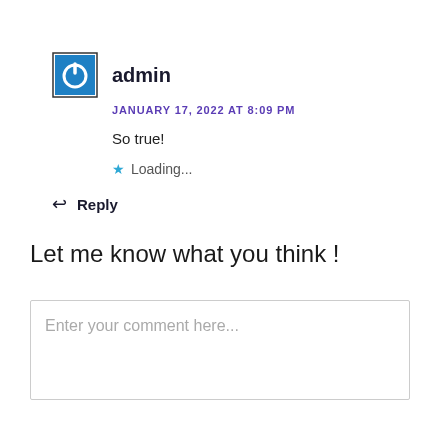[Figure (logo): Blue square avatar icon with white power button symbol]
admin
JANUARY 17, 2022 AT 8:09 PM
So true!
Loading...
Reply
Let me know what you think !
Enter your comment here...